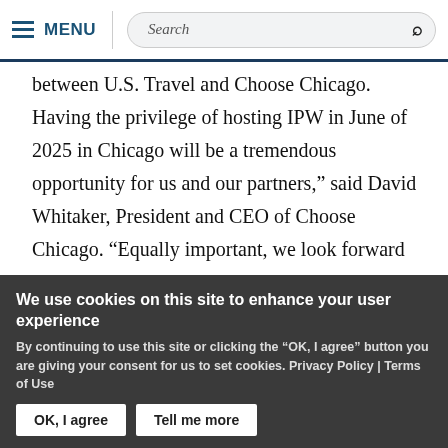MENU | Search
between U.S. Travel and Choose Chicago. Having the privilege of hosting IPW in June of 2025 in Chicago will be a tremendous opportunity for us and our partners,” said David Whitaker, President and CEO of Choose Chicago. “Equally important, we look forward to traveling to Las Vegas next year to continue our partnership and engagement with the
We use cookies on this site to enhance your user experience
By continuing to use this site or clicking the "OK, I agree" button you are giving your consent for us to set cookies. Privacy Policy | Terms of Use
OK, I agree  |  Tell me more